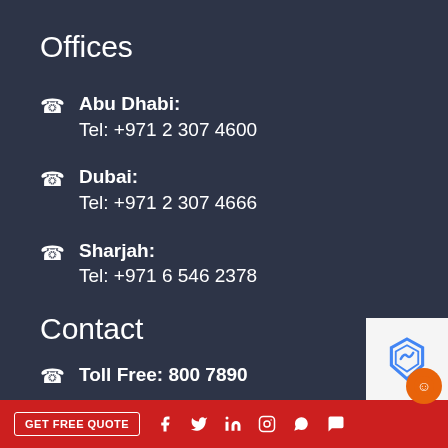Offices
Abu Dhabi: Tel: +971 2 307 4600
Dubai: Tel: +971 2 307 4666
Sharjah: Tel: +971 6 546 2378
Contact
Toll Free: 800 7890
GET FREE QUOTE  [Facebook] [Twitter] [LinkedIn] [Instagram] [WhatsApp]